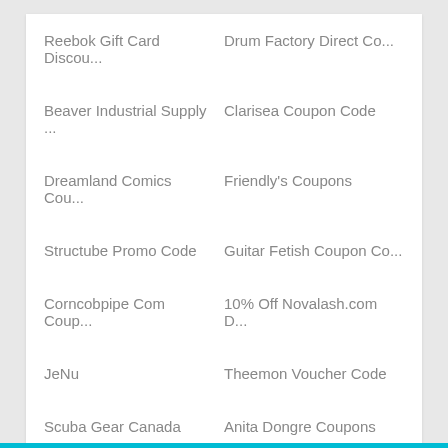Reebok Gift Card Discou...
Drum Factory Direct Co...
Beaver Industrial Supply ...
Clarisea Coupon Code
Dreamland Comics Cou...
Friendly's Coupons
Structube Promo Code
Guitar Fetish Coupon Co...
Corncobpipe Com Coup...
10% Off Novalash.com D...
JeNu
Theemon Voucher Code
Scuba Gear Canada
Anita Dongre Coupons
Purify Your Body Coupons
Babies R Us Canada Free ...